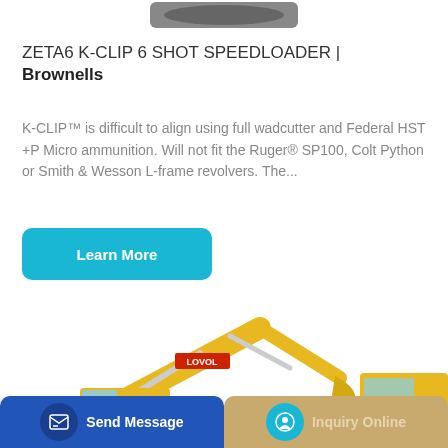[Figure (photo): Partial product silhouette visible at top of page (speedloader product image cropped)]
ZETA6 K-CLIP 6 SHOT SPEEDLOADER | Brownells
K-CLIP™ is difficult to align using full wadcutter and Federal HST +P Micro ammunition. Will not fit the Ruger® SP100, Colt Python or Smith & Wesson L-frame revolvers. The...
[Figure (other): Learn More button - teal/blue rounded rectangle button]
[Figure (photo): Yellow LOVOL excavator/construction equipment photographed against white background]
[Figure (other): Bottom bar with two buttons: Send Message (blue) on left and Inquiry Online (tan/gold) on right]